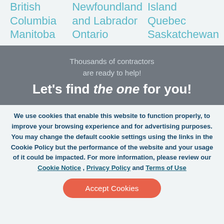British Columbia
Manitoba
Newfoundland and Labrador
Ontario
Island Quebec
Saskatchewan
Thousands of contractors are ready to help!
Let's find the one for you!
We use cookies that enable this website to function properly, to improve your browsing experience and for advertising purposes. You may change the default cookie settings using the links in the Cookie Policy but the performance of the website and your usage of it could be impacted. For more information, please review our Cookie Notice , Privacy Policy and Terms of Use
Accept Cookies